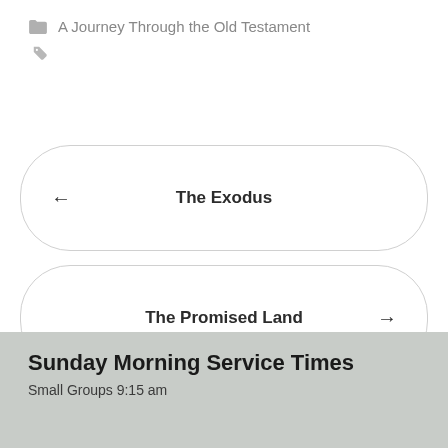A Journey Through the Old Testament
← The Exodus
The Promised Land →
Sunday Morning Service Times
Small Groups 9:15 am